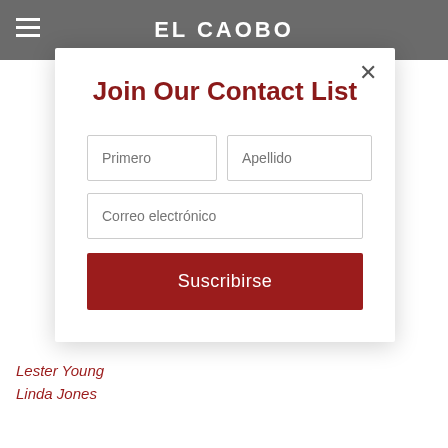EL CAOBO
Join Our Contact List
Primero
Apellido
Correo electrónico
Suscribirse
Lester Young
Linda Jones